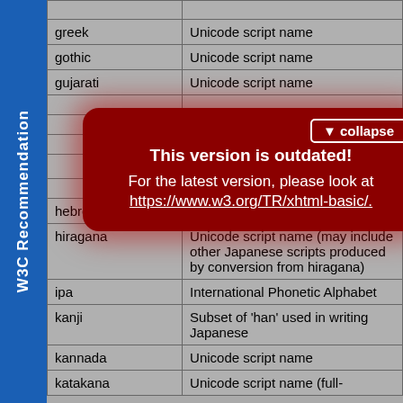|  |  |
| --- | --- |
| greek | Unicode script name |
| gothic | Unicode script name |
| gujarati | Unicode script name |
|  |  |
|  |  |
|  |  |
|  | n |
|  |  |
| hebrew | Unicode script name |
| hiragana | Unicode script name (may include other Japanese scripts produced by conversion from hiragana) |
| ipa | International Phonetic Alphabet |
| kanji | Subset of 'han' used in writing Japanese |
| kannada | Unicode script name |
| katakana | Unicode script name (full- |
[Figure (screenshot): Red rounded-rectangle overlay with 'This version is outdated! For the latest version, please look at https://www.w3.org/TR/xhtml-basic/.' and a collapse button.]